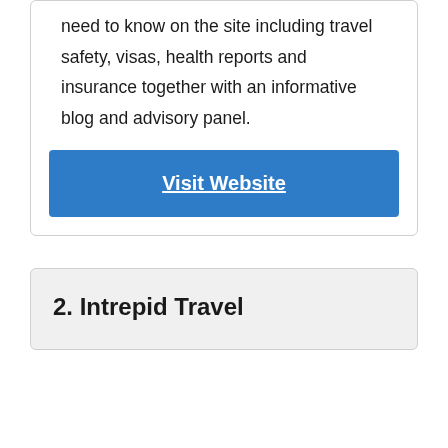need to know on the site including travel safety, visas, health reports and insurance together with an informative blog and advisory panel.
Visit Website
2. Intrepid Travel